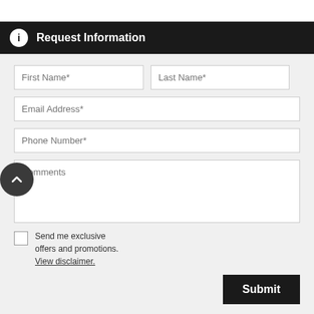Request Information
First Name*
Last Name*
Email Address*
Phone Number*
Comments
Send me exclusive offers and promotions. View disclaimer.
Submit
This site uses cookies.
OK